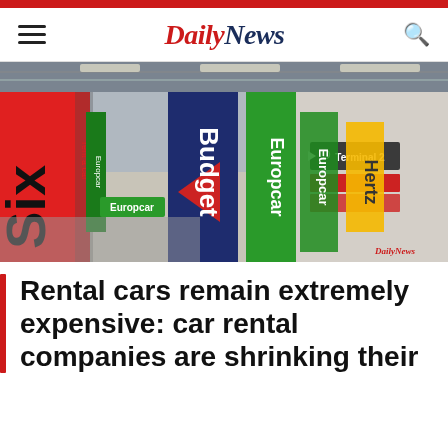Daily News
[Figure (photo): Airport car rental hall showing branded banners/pillars for Sixt, Europcar, Budget, and Hertz in a modern terminal corridor]
Rental cars remain extremely expensive: car rental companies are shrinking their